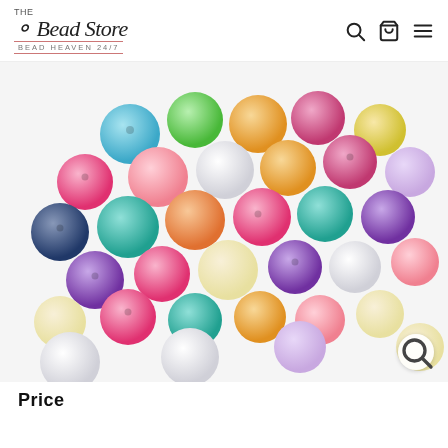The Bead Store — Bead Heaven 24/7
[Figure (photo): A pile of colorful matte round acrylic beads in pastel and bright colors including pink, blue, purple, yellow, orange, teal, white, and green. Each bead has a visible hole.]
Price